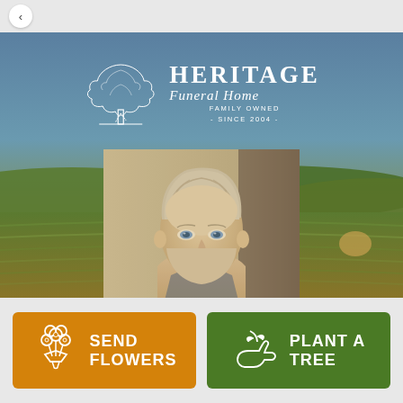[Figure (illustration): Heritage Funeral Home logo with a large oak tree illustration and text: HERITAGE Funeral Home FAMILY OWNED - SINCE 2004 -]
[Figure (photo): Portrait photograph of an elderly man with light hair and blue eyes, vintage/sepia-toned appearance, shown from shoulders up]
[Figure (photo): Background landscape photo of green agricultural fields under a blue-grey sky]
SEND FLOWERS
PLANT A TREE